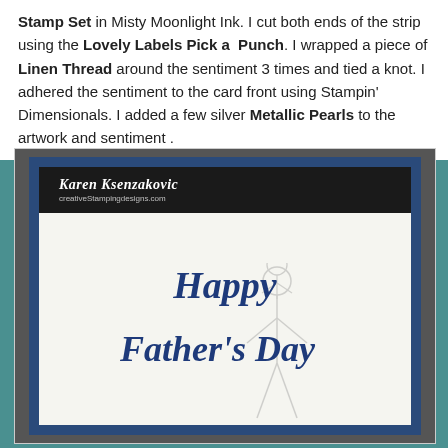Stamp Set in Misty Moonlight Ink.  I cut both ends of the strip using the Lovely Labels Pick a  Punch.  I wrapped a piece of Linen Thread around the sentiment 3 times and tied a knot.  I adhered the sentiment to the card front using Stampin' Dimensionals.  I added a few silver Metallic Pearls to the artwork and sentiment .
[Figure (photo): Photo of a handmade Father's Day card. The card has a dark navy blue border/mat layer on a near-black background. The card face is off-white/cream with a dark header bar showing the name 'Karen Ksenzakovic' in white italic script and a website URL below. The card features a large navy blue script die-cut or stamped text reading 'Happy Father's Day' layered over a light pencil sketch of a father holding a small child on his shoulders, viewed from behind.]